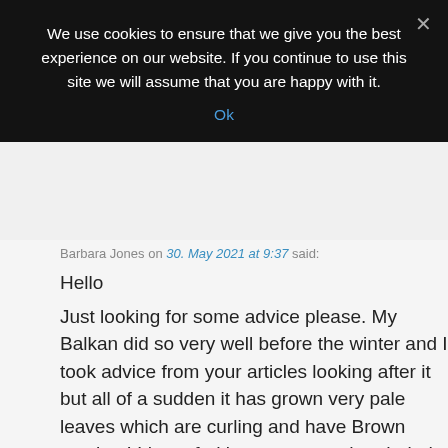We use cookies to ensure that we give you the best experience on our website. If you continue to use this site we will assume that you are happy with it.
Ok
Barbara Jones on 30. May 2021 at 9:37 said:
Hello

Just looking for some advice please. My Balkan did so very well before the winter and I took advice from your articles looking after it but all of a sudden it has grown very pale leaves which are curling and have Brown patches! I have fed it as suggested and tried to not overwater, I even replaced with new cacti compost as suggested by another site. Please help its really worrying I would hate to lose it I've only had it for a year and it's only now 3 years old! Can it be saved?
Reply ↓